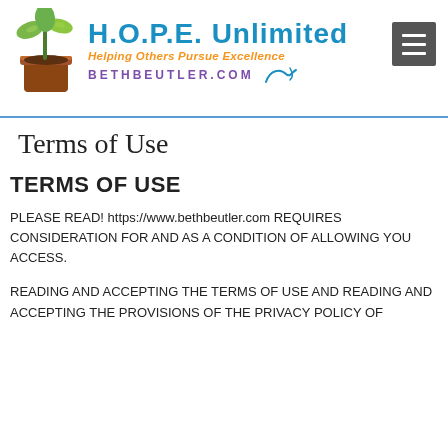[Figure (logo): H.O.P.E. Unlimited logo with plant pot icon, blue text 'H.O.P.E. Unlimited', orange italic tagline 'Helping Others Pursue Excellence', purple URL 'BETHBEUTLER.COM' with decorative swirl, and gray hamburger menu button on right]
Terms of Use
TERMS OF USE
PLEASE READ! https://www.bethbeutler.com REQUIRES CONSIDERATION FOR AND AS A CONDITION OF ALLOWING YOU ACCESS.
READING AND ACCEPTING THE TERMS OF USE AND READING AND ACCEPTING THE PROVISIONS OF THE PRIVACY POLICY OF